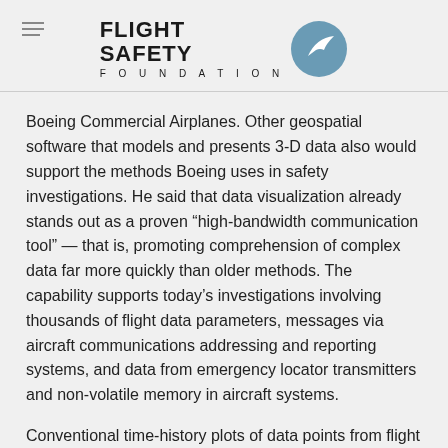FLIGHT SAFETY FOUNDATION
Boeing Commercial Airplanes. Other geospatial software that models and presents 3-D data also would support the methods Boeing uses in safety investigations. He said that data visualization already stands out as a proven “high-bandwidth communication tool” — that is, promoting comprehension of complex data far more quickly than older methods. The capability supports today’s investigations involving thousands of flight data parameters, messages via aircraft communications addressing and reporting systems, and data from emergency locator transmitters and non-volatile memory in aircraft systems.
Conventional time-history plots of data points from flight data recorders remain an important tool for detailed study